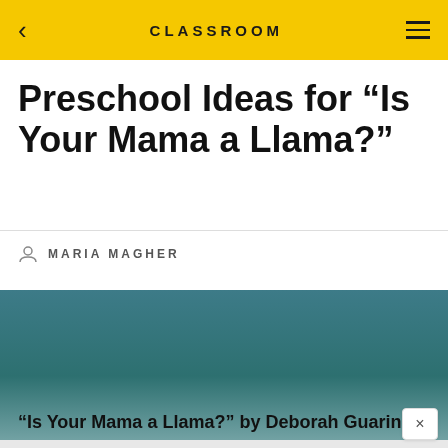CLASSROOM
Preschool Ideas for “Is Your Mama a Llama?”
MARIA MAGHER
[Figure (photo): Teal/blue-green gradient hero image, fading from dark teal at top to light near bottom]
“Is Your Mama a Llama?” by Deborah Guarino